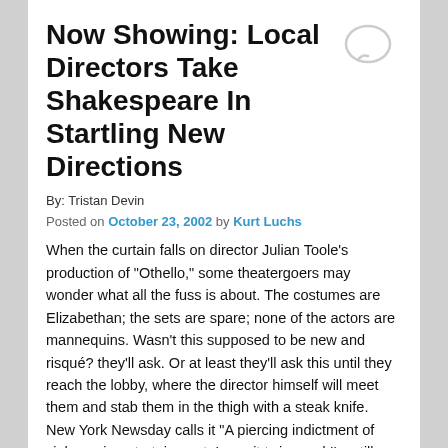Now Showing: Local Directors Take Shakespeare In Startling New Directions
By: Tristan Devin
Posted on October 23, 2002 by Kurt Luchs
When the curtain falls on director Julian Toole’s production of “Othello,” some theatergoers may wonder what all the fuss is about. The costumes are Elizabethan; the sets are spare; none of the actors are mannequins. Wasn’t this supposed to be new and risqué? they’ll ask. Or at least they’ll ask this until they reach the lobby, where the director himself will meet them and stab them in the thigh with a steak knife. New York Newsday calls it “A piercing indictment of violence in entertainment. I saw it twice and I’m still bleeding!” (“Othello” has been cancelled due to minimal public interest.)